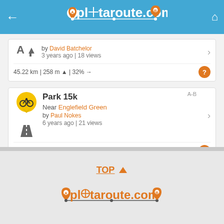plotaroute.com
by David Batchelor
3 years ago | 18 views
45.22 km | 258 m | 32%
Park 15k
Near Englefield Green
by Paul Nokes
6 years ago | 21 views
15.92 km | 229 m | 15%
FIND MORE NEARBY ROUTES
TOP
[Figure (logo): plotaroute.com logo with orange map pin icons for A and B markers and a crosshair style O]